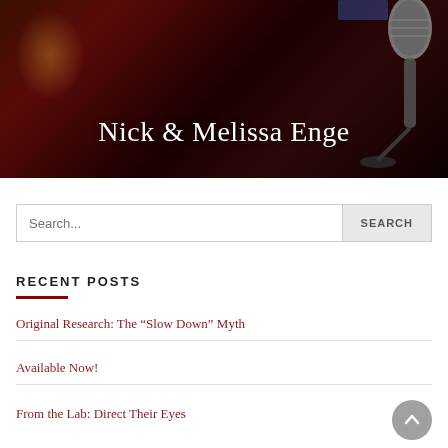[Figure (photo): Dark reddish theatre/stage background with a vintage microphone stand on the right, and text overlay reading 'Nick & Melissa Enge']
Nick & Melissa Enge
Search...
RECENT POSTS
Original Research: The “Slow Down” Myth
Available Now!
From the Lab: Direct Their Eyes